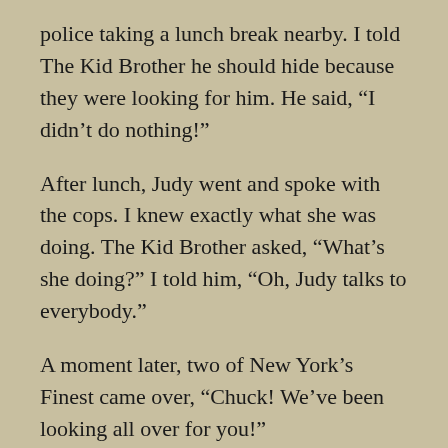police taking a lunch break nearby. I told The Kid Brother he should hide because they were looking for him. He said, “I didn’t do nothing!”
After lunch, Judy went and spoke with the cops. I knew exactly what she was doing. The Kid Brother asked, “What’s she doing?” I told him, “Oh, Judy talks to everybody.”
A moment later, two of New York’s Finest came over, “Chuck! We’ve been looking all over for you!”
Chuck blushed and matter-of-factly replied, “I been here for a while.”